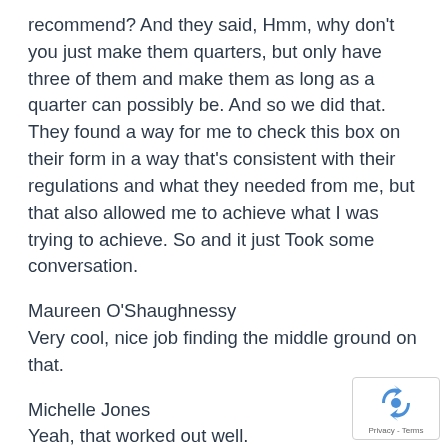recommend? And they said, Hmm, why don't you just make them quarters, but only have three of them and make them as long as a quarter can possibly be. And so we did that. They found a way for me to check this box on their form in a way that's consistent with their regulations and what they needed from me, but that also allowed me to achieve what I was trying to achieve. So and it just Took some conversation.
Maureen O'Shaughnessy
Very cool, nice job finding the middle ground on that.
Michelle Jones
Yeah, that worked out well.
[Figure (logo): reCAPTCHA badge with circular arrow logo and 'Privacy - Terms' text]